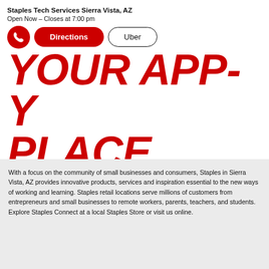Staples Tech Services Sierra Vista, AZ
Open Now – Closes at 7:00 pm
[Figure (screenshot): Buttons row: phone icon (red circle), red pill-shaped Directions button, outlined Uber button]
YOUR APP-Y PLACE
Access and redeem your rewards anytime, anywhere with the Staples Connect™ app. Plus unlock app-only deals and digital coupons.
[Figure (other): Red pill button: Get Staples Connect App]
With a focus on the community of small businesses and consumers, Staples in Sierra Vista, AZ provides innovative products, services and inspiration essential to the new ways of working and learning. Staples retail locations serve millions of customers from entrepreneurs and small businesses to remote workers, parents, teachers, and students. Explore Staples Connect at a local Staples Store or visit us online.